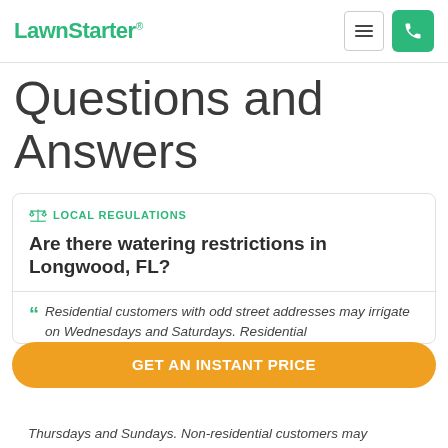LawnStarter
Questions and Answers
LOCAL REGULATIONS
Are there watering restrictions in Longwood, FL?
Residential customers with odd street addresses may irrigate on Wednesdays and Saturdays. Residential Thursdays and Sundays. Non-residential customers may
GET AN INSTANT PRICE